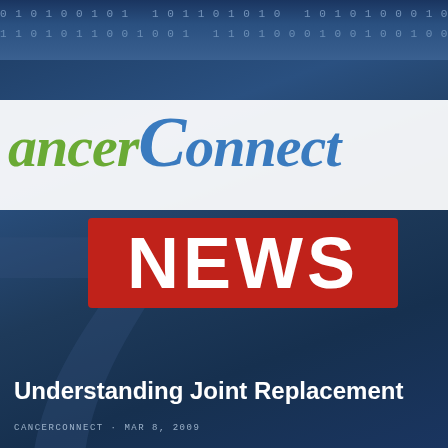[Figure (logo): CancerConnect News logo on blue digital background with binary digits. Green and blue 'CancerConnect' wordmark on white banner, red 'NEWS' box below.]
Understanding Joint Replacement
CANCERCONNECT · MAR 8, 2009